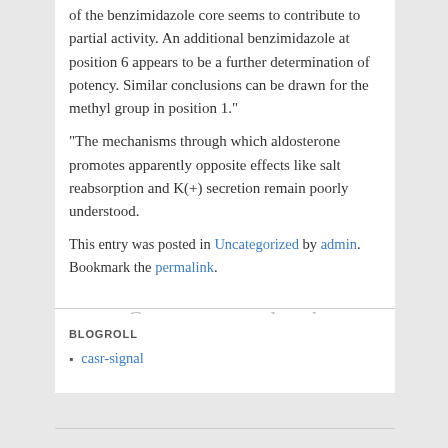of the benzimidazole core seems to contribute to partial activity. An additional benzimidazole at position 6 appears to be a further determination of potency. Similar conclusions can be drawn for the methyl group in position 1."
"The mechanisms through which aldosterone promotes apparently opposite effects like salt reabsorption and K(+) secretion remain poorly understood.
This entry was posted in Uncategorized by admin. Bookmark the permalink.
Comments are closed.
BLOGROLL
casr-signal